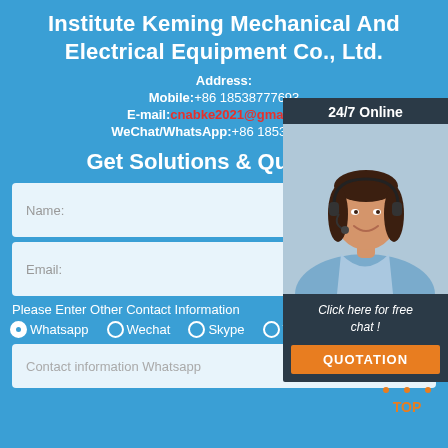Institute Keming Mechanical And Electrical Equipment Co., Ltd.
Address:
Mobile:+86 18538777693
E-mail:cnabke2021@gmail.com
WeChat/WhatsApp:+86 18538777693
Get Solutions & Quotation
[Figure (photo): Customer service representative wearing a headset, smiling, with '24/7 Online' text above and 'Click here for free chat!' below, plus a QUOTATION button]
Name:
Email:
Please Enter Other Contact Information
Whatsapp
Wechat
Skype
Viber
Contact information Whatsapp